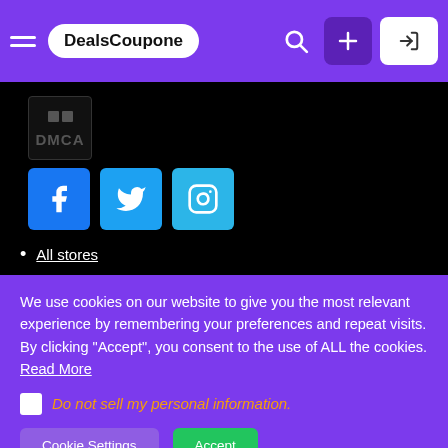DealsCoupone
[Figure (logo): DMCA badge logo in dark area]
[Figure (illustration): Social media icons: Facebook, Twitter, Instagram]
All stores
We use cookies on our website to give you the most relevant experience by remembering your preferences and repeat visits. By clicking “Accept”, you consent to the use of ALL the cookies. Read More
Do not sell my personal information.
Cookie Settings  Accept
GET DEAL